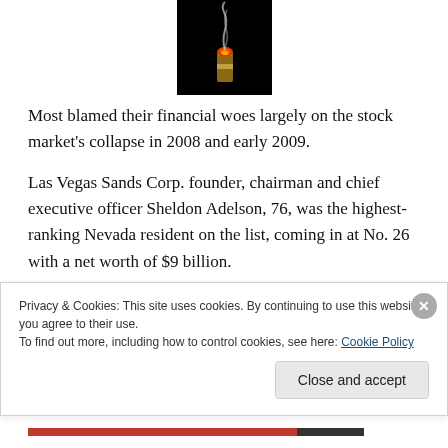[Figure (photo): Close-up photo of a lit cigar tip with smoke rising against a black background]
Most blamed their financial woes largely on the stock market's collapse in 2008 and early 2009.
Las Vegas Sands Corp. founder, chairman and chief executive officer Sheldon Adelson, 76, was the highest-ranking Nevada resident on the list, coming in at No. 26 with a net worth of $9 billion.
But even that is chump change in comparison to Microsoft
Privacy & Cookies: This site uses cookies. By continuing to use this website, you agree to their use.
To find out more, including how to control cookies, see here: Cookie Policy
Close and accept